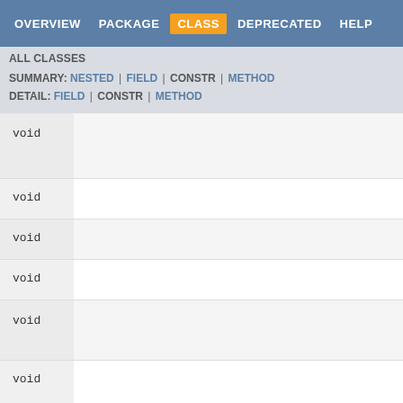OVERVIEW  PACKAGE  CLASS  DEPRECATED  HELP
ALL CLASSES
SUMMARY: NESTED | FIELD | CONSTR | METHOD
DETAIL: FIELD | CONSTR | METHOD
void
void
void
void
void
void
void
void